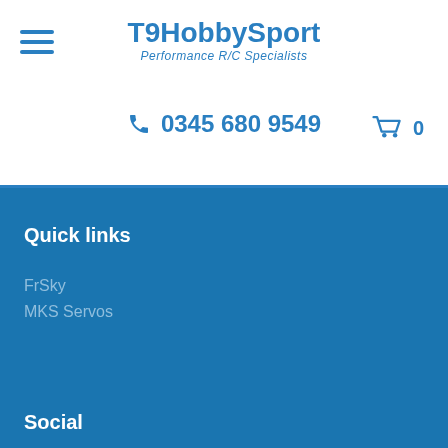T9HobbySport — Performance R/C Specialists
0345 680 9549
Quick links
FrSky
MKS Servos
Social
Keep up to date with our news and offers